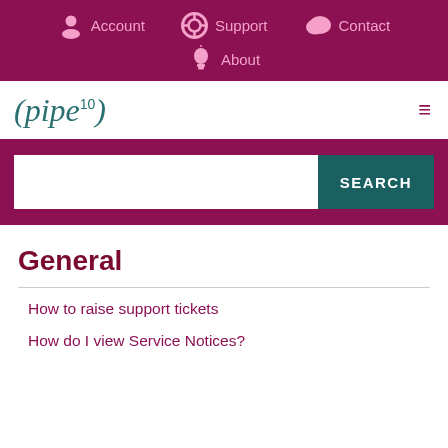Account  Support  Contact  About
[Figure (logo): (pipe10) logo with teal italic font and superscript 10]
General
How to raise support tickets
How do I view Service Notices?